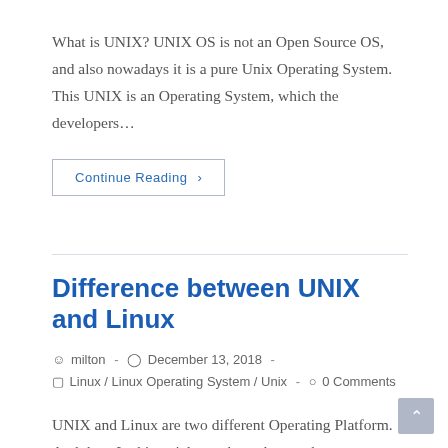What is UNIX? UNIX OS is not an Open Source OS, and also nowadays it is a pure Unix Operating System. This UNIX is an Operating System, which the developers…
Continue Reading ›
Difference between UNIX and Linux
milton  -  December 13, 2018  -  Linux / Linux Operating System / Unix  -  0 Comments
UNIX and Linux are two different Operating Platform. And thus, In this article, we brought you the common Difference between UNIX and Linux. We hope you will learn a lot…